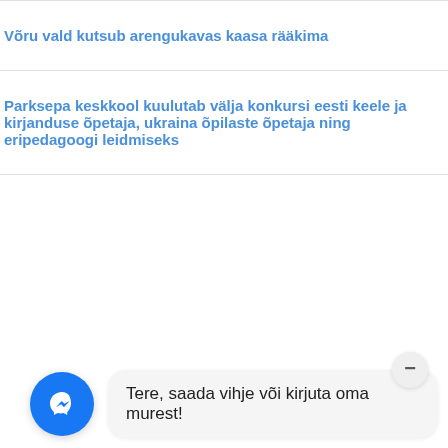Võru vald kutsub arengukavas kaasa rääkima
Parksepa keskkool kuulutab välja konkursi eesti keele ja kirjanduse õpetaja, ukraina õpilaste õpetaja ning eripedagoogi leidmiseks
[Figure (screenshot): Facebook Messenger chat widget with blue circular icon showing messenger logo and a speech bubble saying 'Tere, saada vihje või kirjuta oma murest!' with a minimize button.]
Tere, saada vihje või kirjuta oma murest!